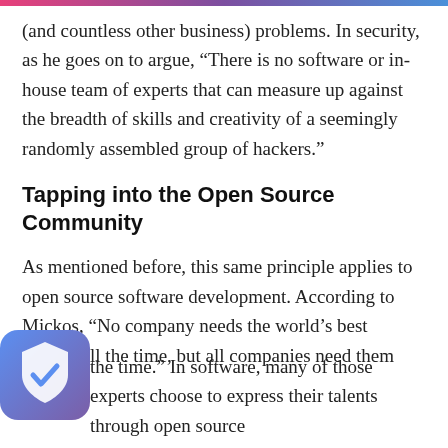(and countless other business) problems. In security, as he goes on to argue, “There is no software or in-house team of experts that can measure up against the breadth of skills and creativity of a seemingly randomly assembled group of hackers.”
Tapping into the Open Source Community
As mentioned before, this same principle applies to open source software development. According to Mickos, “No company needs the world’s best experts all the time, but all companies need them some of the time.” In software, many of those experts choose to express their talents through open source